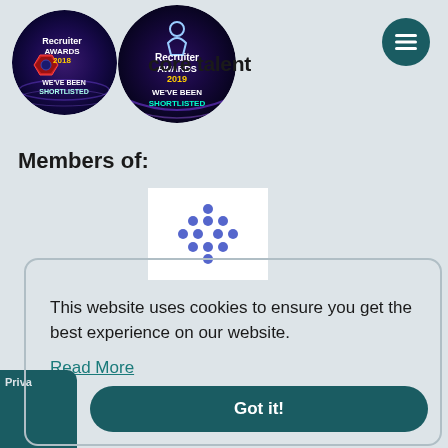[Figure (logo): Recruiter Awards 2018 WE'VE BEEN SHORTLISTED circular badge with purple/blue cosmic background]
[Figure (logo): Recruiter Awards 2019 WE'VE BEEN SHORTLISTED circular badge with dark blue/purple cosmic background]
core talent
[Figure (logo): Hamburger menu button - teal circular button with three horizontal lines]
Members of:
[Figure (logo): White rectangle logo box with blue dot-grid cross/diamond pattern icon]
This website uses cookies to ensure you get the best experience on our website.
Read More
Got it!
Priva...